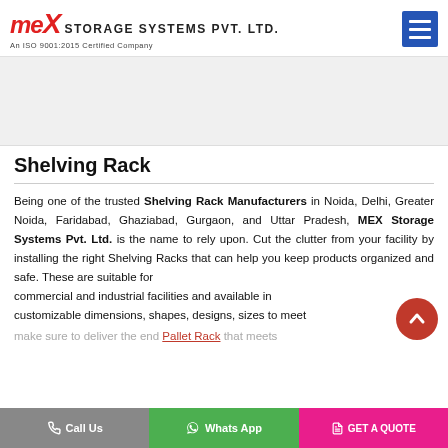MEX STORAGE SYSTEMS PVT. LTD. An ISO 9001:2015 Certified Company
[Figure (other): Advertisement banner placeholder area (gray background)]
Shelving Rack
Being one of the trusted Shelving Rack Manufacturers in Noida, Delhi, Greater Noida, Faridabad, Ghaziabad, Gurgaon, and Uttar Pradesh, MEX Storage Systems Pvt. Ltd. is the name to rely upon. Cut the clutter from your facility by installing the right Shelving Racks that can help you keep products organized and safe. These are suitable for commercial and industrial facilities and available in customizable dimensions, shapes, designs, sizes to meet your requirements. We make sure to deliver the end Pallet Racks that meets
Call Us   Whats App   GET A QUOTE